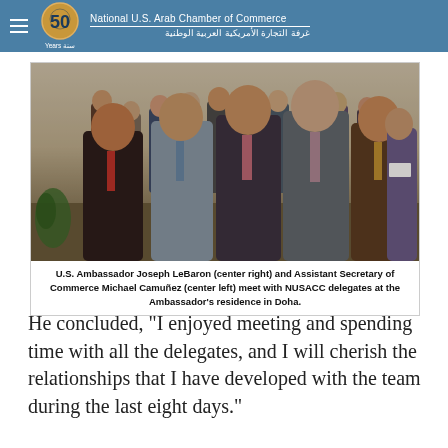National U.S. Arab Chamber of Commerce / غرفة التجارة الأمريكية العربية الوطنية
[Figure (photo): Group photo of U.S. Ambassador Joseph LeBaron (center right) and Assistant Secretary of Commerce Michael Camuñez (center left) with NUSACC delegates at the Ambassador's residence in Doha.]
U.S. Ambassador Joseph LeBaron (center right) and Assistant Secretary of Commerce Michael Camuñez (center left) meet with NUSACC delegates at the Ambassador's residence in Doha.
He concluded, "I enjoyed meeting and spending time with all the delegates, and I will cherish the relationships that I have developed with the team during the last eight days."